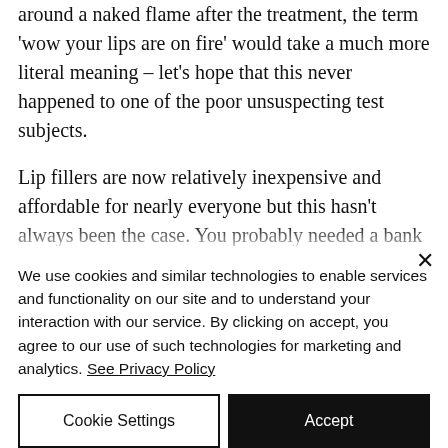around a naked flame after the treatment, the term 'wow your lips are on fire' would take a much more literal meaning – let's hope that this never happened to one of the poor unsuspecting test subjects.
Lip fillers are now relatively inexpensive and affordable for nearly everyone but this hasn't always been the case. You probably needed a bank balance of a...
We use cookies and similar technologies to enable services and functionality on our site and to understand your interaction with our service. By clicking on accept, you agree to our use of such technologies for marketing and analytics. See Privacy Policy